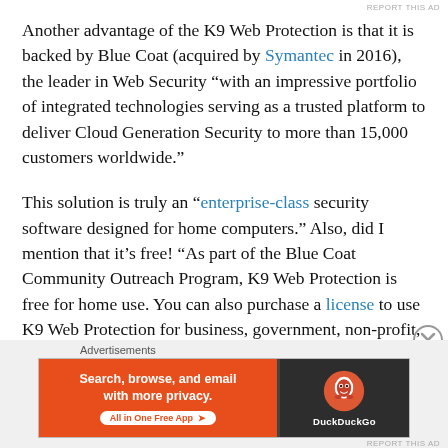REPORT THIS AD
Another advantage of the K9 Web Protection is that it is backed by Blue Coat (acquired by Symantec in 2016),  the leader in Web Security “with an impressive portfolio of integrated technologies serving as a trusted platform to deliver Cloud Generation Security to more than 15,000 customers worldwide.”
This solution is truly an “enterprise-class security software designed for home computers.” Also, did I mention that it’s free! “As part of the Blue Coat Community Outreach Program, K9 Web Protection is free for home use. You can also purchase a license to use K9 Web Protection for business, government, non-profit, or other use.”
Advertisements
[Figure (infographic): DuckDuckGo advertisement banner: orange left side with text 'Search, browse, and email with more privacy. All in One Free App', dark right side with DuckDuckGo logo and brand name.]
REPORT THIS AD